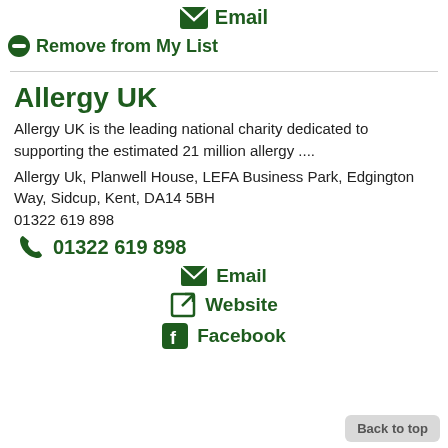Email
Remove from My List
Allergy UK
Allergy UK is the leading national charity dedicated to supporting the estimated 21 million allergy ....
Allergy Uk, Planwell House, LEFA Business Park, Edgington Way, Sidcup, Kent, DA14 5BH
01322 619 898
01322 619 898
Email
Website
Facebook
Back to top